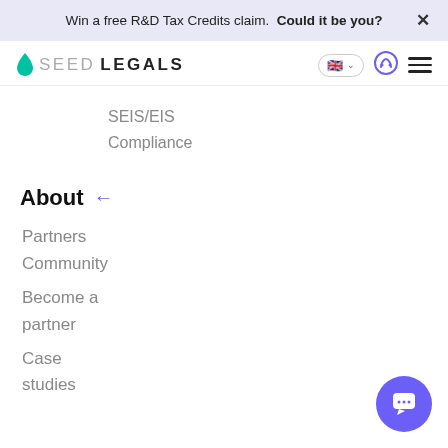Win a free R&D Tax Credits claim. Could it be you?
[Figure (logo): SeedLegals logo with green droplet icon and text SEEDLEGALS]
SEIS/EIS
Compliance
About ←
Partners
Community
Become a partner
Case studies